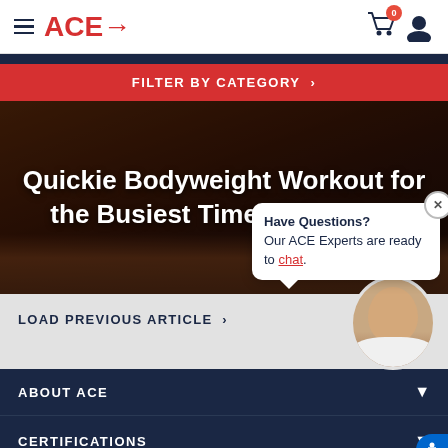ACE→ | Navigation header with cart and user icons
FILTER BY CATEGORY ›
[Figure (screenshot): Hero image showing a dark room with wooden floor, person visible, overlaid with article title text: Quickie Bodyweight Workout for the Busiest Time of the Year]
Quickie Bodyweight Workout for the Busiest Time of the Year
Have Questions? Our ACE Experts are ready to chat.
LOAD PREVIOUS ARTICLE ›
ABOUT ACE
CERTIFICATIONS